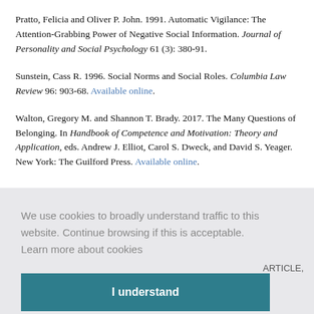Pratto, Felicia and Oliver P. John. 1991. Automatic Vigilance: The Attention-Grabbing Power of Negative Social Information. Journal of Personality and Social Psychology 61 (3): 380-91.
Sunstein, Cass R. 1996. Social Norms and Social Roles. Columbia Law Review 96: 903-68. Available online.
Walton, Gregory M. and Shannon T. Brady. 2017. The Many Questions of Belonging. In Handbook of Competence and Motivation: Theory and Application, eds. Andrew J. Elliot, Carol S. Dweck, and David S. Yeager. New York: The Guilford Press. Available online.
We use cookies to broadly understand traffic to this website. Continue browsing if this is acceptable.  Learn more about cookies
I understand